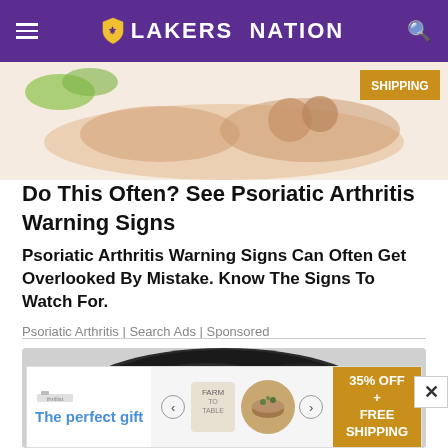LAKERS NATION
[Figure (photo): Advertisement image showing illustration of hands with psoriatic arthritis, with a gold 'SHIPPING' label in corner]
Do This Often? See Psoriatic Arthritis Warning Signs
Psoriatic Arthritis Warning Signs Can Often Get Overlooked By Mistake. Know The Signs To Watch For.
Psoriatic Arthritis | Search Ads | Sponsored
[Figure (photo): Close-up photo of a black arc touch computer mouse on a white/grey background]
[Figure (photo): Bottom banner ad: 'The perfect gift' with food product images and '35% OFF + FREE SHIPPING' in gold section]